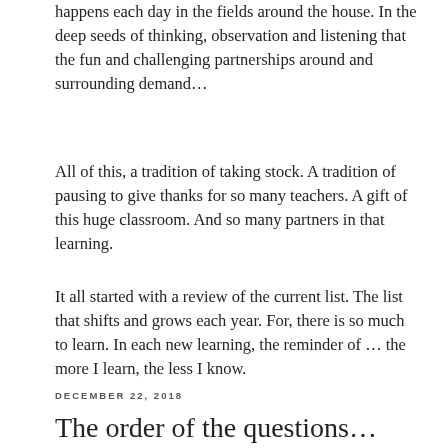dreams of many clients in the growing that happens each day in the fields around the house. In the deep seeds of thinking, observation and listening that the fun and challenging partnerships around and surrounding demand…
All of this, a tradition of taking stock. A tradition of pausing to give thanks for so many teachers. A gift of this huge classroom. And so many partners in that learning.
It all started with a review of the current list. The list that shifts and grows each year. For, there is so much to learn. In each new learning, the reminder of … the more I learn, the less I know.
DECEMBER 22, 2018
The order of the questions…